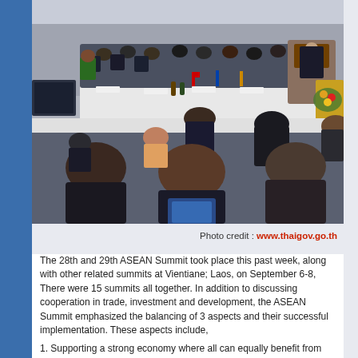[Figure (photo): A large formal ASEAN Summit conference meeting room with delegates seated at long tables covered with gold/yellow cloth. Officials and dignitaries fill the room, with flags visible. A speaker is at a podium on the right. The foreground shows the backs of attendees' heads.]
Photo credit : www.thaigov.go.th
The 28th and 29th ASEAN Summit took place this past week, along with other related summits at Vientiane; Laos, on September 6-8, There were 15 summits all together. In addition to discussing cooperation in trade, investment and development, the ASEAN Summit emphasized the balancing of 3 aspects and their successful implementation. These aspects include,
1. Supporting a strong economy where all can equally benefit from economic growth, emphasizing growth that is mobilized through innovation.
2. Creating stability that emphasizes the development of human